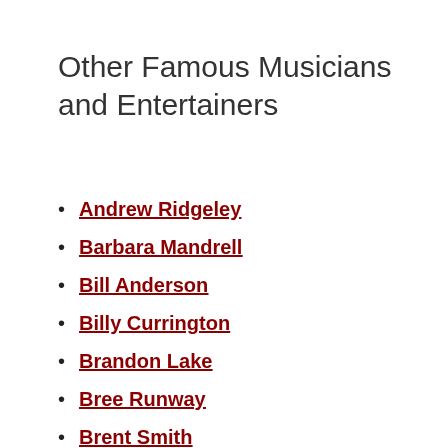Other Famous Musicians and Entertainers
Andrew Ridgeley
Barbara Mandrell
Bill Anderson
Billy Currington
Brandon Lake
Bree Runway
Brent Smith
Buddy Guy
Carin Leon
Carl Thomas Dean
Cheryl Scott